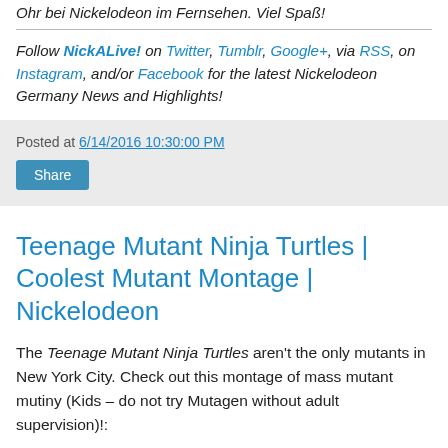Ohr bei Nickelodeon im Fernsehen. Viel Spaß!
Follow NickALive! on Twitter, Tumblr, Google+, via RSS, on Instagram, and/or Facebook for the latest Nickelodeon Germany News and Highlights!
Posted at 6/14/2016 10:30:00 PM
Share
Teenage Mutant Ninja Turtles | Coolest Mutant Montage | Nickelodeon
The Teenage Mutant Ninja Turtles aren't the only mutants in New York City. Check out this montage of mass mutant mutiny (Kids – do not try Mutagen without adult supervision)!:
[Figure (screenshot): Video thumbnail showing Nickelodeon orange logo with 'nick' text and title 'Teenage Mutant ...' with menu dots on black background]